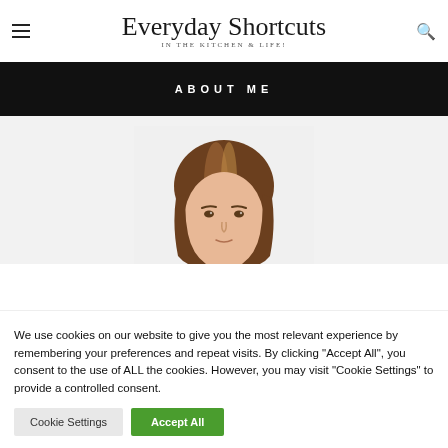Everyday Shortcuts — IN THE KITCHEN & LIFE!
ABOUT ME
[Figure (photo): Photo of a woman with brown highlighted hair looking at the camera, cropped from mid-forehead, on a white/light grey background.]
We use cookies on our website to give you the most relevant experience by remembering your preferences and repeat visits. By clicking "Accept All", you consent to the use of ALL the cookies. However, you may visit "Cookie Settings" to provide a controlled consent.
Cookie Settings | Accept All